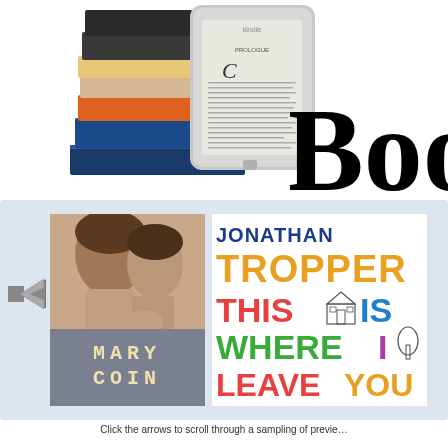[Figure (photo): Stack of physical books and a Kindle e-reader device]
[Figure (illustration): Large bold text 'Boo' (partial word, cut off at right edge)]
[Figure (photo): Carousel of book covers: Mary Coin by Mary Coin author, and This Is Where I Leave You by Jonathan Tropper, with left navigation arrow]
Click the arrows to scroll through a sampling of preview